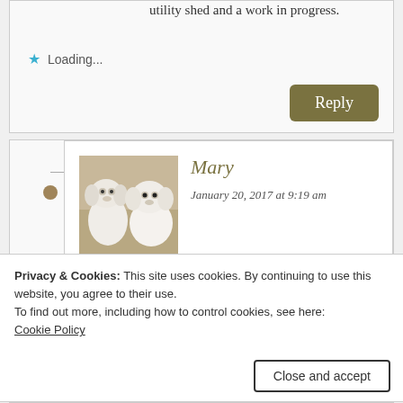utility shed and a work in progress.
Loading...
Reply
Mary
January 20, 2017 at 9:19 am
[Figure (photo): Photo of two small white fluffy dogs]
What fun Sherlie! Mine is always a work in progress and a mess at the moment :)
Privacy & Cookies: This site uses cookies. By continuing to use this website, you agree to their use.
To find out more, including how to control cookies, see here:
Cookie Policy
Close and accept